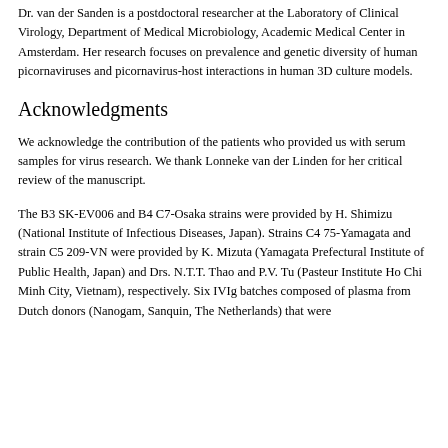Dr. van der Sanden is a postdoctoral researcher at the Laboratory of Clinical Virology, Department of Medical Microbiology, Academic Medical Center in Amsterdam. Her research focuses on prevalence and genetic diversity of human picornaviruses and picornavirus-host interactions in human 3D culture models.
Acknowledgments
We acknowledge the contribution of the patients who provided us with serum samples for virus research. We thank Lonneke van der Linden for her critical review of the manuscript.
The B3 SK-EV006 and B4 C7-Osaka strains were provided by H. Shimizu (National Institute of Infectious Diseases, Japan). Strains C4 75-Yamagata and strain C5 209-VN were provided by K. Mizuta (Yamagata Prefectural Institute of Public Health, Japan) and Drs. N.T.T. Thao and P.V. Tu (Pasteur Institute Ho Chi Minh City, Vietnam), respectively. Six IVIg batches composed of plasma from Dutch donors (Nanogam, Sanquin, The Netherlands) that were